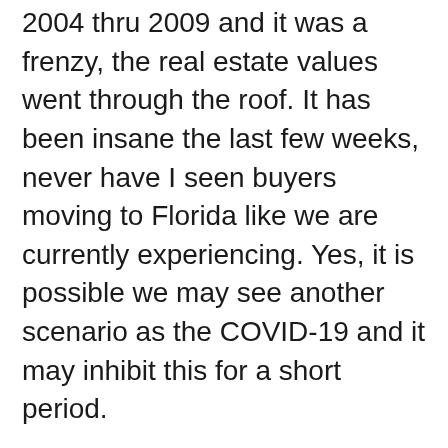2004 thru 2009 and it was a frenzy, the real estate values went through the roof. It has been insane the last few weeks, never have I seen buyers moving to Florida like we are currently experiencing. Yes, it is possible we may see another scenario as the COVID-19 and it may inhibit this for a short period.
The upside, is values may begin to rise fairly rapidly by August or September. That's a great thing for all of us. A property in the Tree Side community is for sale by owner and only listed through a realtor to get it in the MLS is my guess. Negotiations will be with the sellers. Looking for real facts, want to sell but uncertain in these